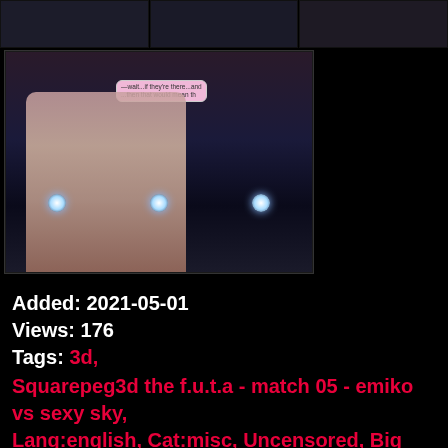[Figure (photo): Top strip of three thumbnail images on black background]
[Figure (illustration): 3D rendered illustration of a character with pink hair in a wrestling/arena setting with lights, speech bubble reading 'wait...if they're there...and ...then that would mean th']
Added: 2021-05-01
Views: 176
Tags: 3d,
Squarepeg3d the f.u.t.a - match 05 - emiko vs sexy sky, Lang:english, Cat:misc, Uncensored, Big ass, Big breasts, Dickgirl on dickgirl, Footjob, Futanari, Urethra insertion, Wrestling, Pictures